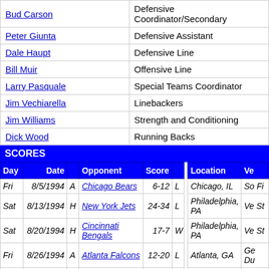| Name | Role |
| --- | --- |
| Bud Carson | Defensive Coordinator/Secondary |
| Peter Giunta | Defensive Assistant |
| Dale Haupt | Defensive Line |
| Bill Muir | Offensive Line |
| Larry Pasquale | Special Teams Coordinator |
| Jim Vechiarella | Linebackers |
| Jim Williams | Strength and Conditioning |
| Dick Wood | Running Backs |
SCORES
| Day | Date |  | Opponent | Score |  |  | Location | Ve |
| --- | --- | --- | --- | --- | --- | --- | --- | --- |
| Fri | 8/5/1994 | A | Chicago Bears | 6-12 | L |  | Chicago, IL | So Fi |
| Sat | 8/13/1994 | H | New York Jets | 24-34 | L |  | Philadelphia, PA | Ve St |
| Sat | 8/20/1994 | H | Cincinnati Bengals | 17-7 | W |  | Philadelphia, PA | Ve St |
| Fri | 8/26/1994 | A | Atlanta Falcons | 12-20 | L |  | Atlanta, GA | Ge Du |